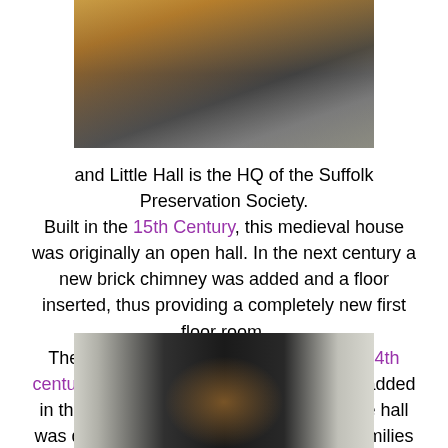[Figure (photo): Exterior of a timber-framed medieval building (Little Hall) with golden/orange wood frame and grey shuttered gate, street scene]
and Little Hall is the HQ of the Suffolk Preservation Society. Built in the 15th Century, this medieval house was originally an open hall. In the next century a new brick chimney was added and a floor inserted, thus providing a completely new first floor room. The left hand side of the house may be 14th century, while the right side was probably added in the 16th century. In the 18th century the hall was divided into tenements, home for 6 families
[Figure (photo): Interior/entrance of Little Hall showing medieval arched doorways and dark corridor with warm light at the end]